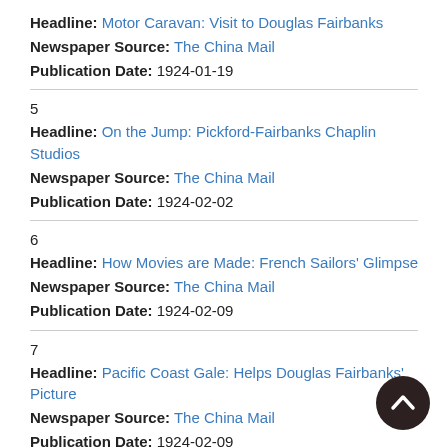Headline: Motor Caravan: Visit to Douglas Fairbanks
Newspaper Source: The China Mail
Publication Date: 1924-01-19
5
Headline: On the Jump: Pickford-Fairbanks Chaplin Studios
Newspaper Source: The China Mail
Publication Date: 1924-02-02
6
Headline: How Movies are Made: French Sailors' Glimpse
Newspaper Source: The China Mail
Publication Date: 1924-02-09
7
Headline: Pacific Coast Gale: Helps Douglas Fairbanks' Picture
Newspaper Source: The China Mail
Publication Date: 1924-02-09
8
Headline: Chinese Girl: Plays in Two Movie Roles
Newspaper Source: The China Mail
Publication Date: 1924-02-16